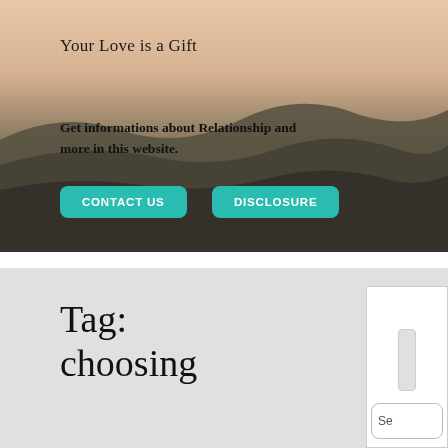Your Love is a Gift
Get informations about Relationship and more in this website.
CONTACT US
DISCLOSURE
Tag: choosing